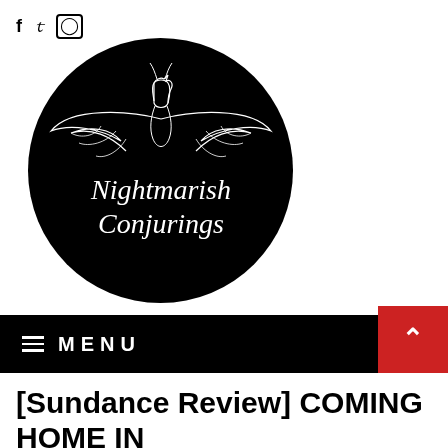f  y  ©
[Figure (logo): Nightmarish Conjurings logo — black circle with white bat-winged dragon creature and cursive text reading 'Nightmarish Conjurings']
≡  MENU
[Sundance Review] COMING HOME IN THE DARK